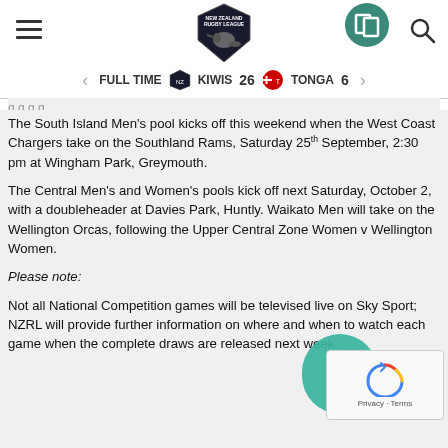[Figure (logo): New Zealand Rugby League logo with kiwi bird]
[Figure (logo): Green circular icon top right]
FULL TIME   KIWIS 26   TONGA 6
The South Island Men's pool kicks off this weekend when the West Coast Chargers take on the Southland Rams, Saturday 25th September, 2:30 pm at Wingham Park, Greymouth.
The Central Men's and Women's pools kick off next Saturday, October 2, with a doubleheader at Davies Park, Huntly. Waikato Men will take on the Wellington Orcas, following the Upper Central Zone Women v Wellington Women.
Please note:
Not all National Competition games will be televised live on Sky Sport; NZRL will provide further information on where and when to watch each game when the complete draws are released next week.